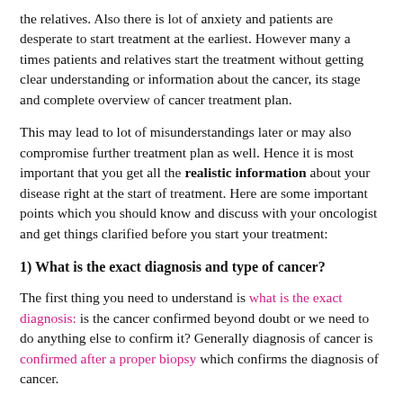the relatives. Also there is lot of anxiety and patients are desperate to start treatment at the earliest. However many a times patients and relatives start the treatment without getting clear understanding or information about the cancer, its stage and complete overview of cancer treatment plan.
This may lead to lot of misunderstandings later or may also compromise further treatment plan as well. Hence it is most important that you get all the realistic information about your disease right at the start of treatment. Here are some important points which you should know and discuss with your oncologist and get things clarified before you start your treatment:
1) What is the exact diagnosis and type of cancer?
The first thing you need to understand is what is the exact diagnosis: is the cancer confirmed beyond doubt or we need to do anything else to confirm it? Generally diagnosis of cancer is confirmed after a proper biopsy which confirms the diagnosis of cancer.